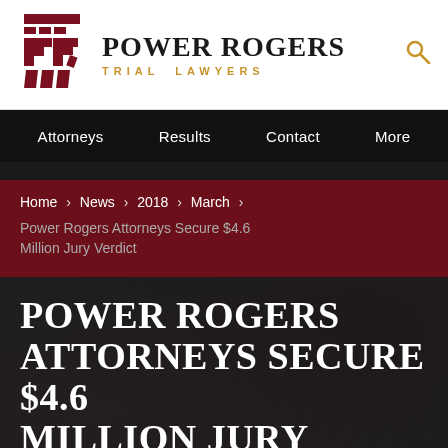[Figure (logo): Power Rogers Trial Lawyers logo with stylized PR monogram in dark red/maroon and firm name in black and gold]
Attorneys   Results   Contact   More
Home > News > 2018 > March >
Power Rogers Attorneys Secure $4.6 Million Jury Verdict
POWER ROGERS ATTORNEYS SECURE $4.6 MILLION JURY VERDICT
POWER ROGERS